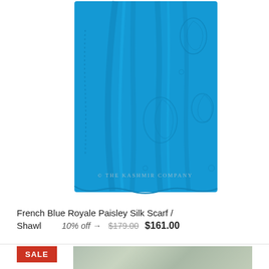[Figure (photo): A vibrant French blue silk scarf/shawl with a tone-on-tone royale paisley pattern, draped and photographed against a white background. The Kashmir Company watermark is visible at the bottom of the image.]
French Blue Royale Paisley Silk Scarf / Shawl   10% off →  $179.00  $161.00
[Figure (photo): Partial view of a second product showing a grey/green shawl with SALE badge in red on the left side.]